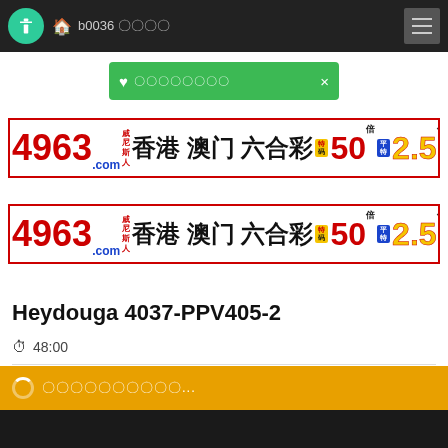b0036 〇〇〇〇
〇〇〇〇〇〇〇〇 ×
[Figure (illustration): Advertisement banner: 4963.com 威尼斯人 香港 澳门 六合彩 特码 50倍 平特 2.5倍]
[Figure (illustration): Advertisement banner (duplicate): 4963.com 威尼斯人 香港 澳门 六合彩 特码 50倍 平特 2.5倍]
Heydouga 4037-PPV405-2
48:00
〇〇〇〇〇〇〇〇〇〇...